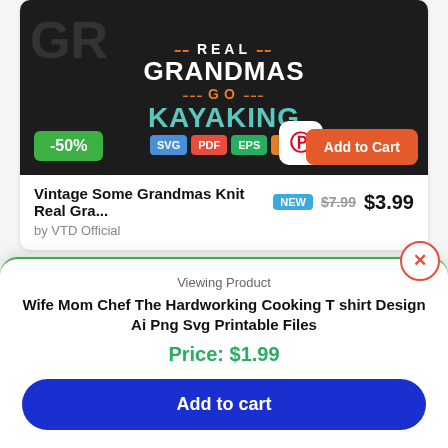[Figure (screenshot): Product image for kayaking SVG design on dark background with text 'Real Grandmas Go Kayaking', showing -50% badge, format badges (SVG, PDF, EPS, DXF, PNG), Pinterest button, and Add to Cart button]
Vintage Some Grandmas Knit Real Gra... NEW $7.99 $3.99
by VTD Official
[Figure (screenshot): Partial product image for chef cooking design, white/grey textured background with chef hat circles, scroll-up button]
Viewing Product
Wife Mom Chef The Hardworking Cooking T shirt Design Ai Png Svg Printable Files
Price: $1.99
Add to cart